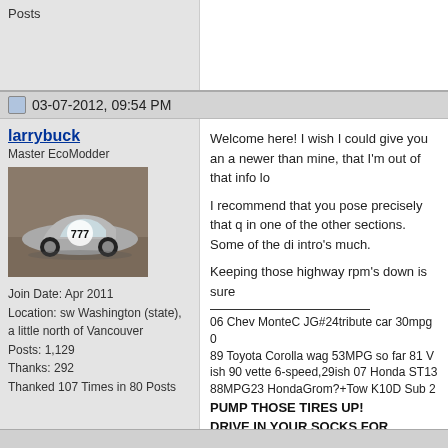Posts
03-07-2012, 09:54 PM
larrybuck
Master EcoModder
[Figure (photo): Photo of a silver sports car with number 777 in a garage]
Join Date: Apr 2011
Location: sw Washington (state), a little north of Vancouver
Posts: 1,129
Thanks: 292
Thanked 107 Times in 80 Posts
Welcome here! I wish I could give you an a newer than mine, that I'm out of that info lo

I recommend that you pose precisely that q in one of the other sections. Some of the di intro's much.

Keeping those highway rpm's down is sure
06 Chev MonteC JG#24tribute car 30mpg 0 89 Toyota Corolla wag 53MPG so far 81 V ish 90 vette 6-speed,29ish 07 Honda ST13 88MPG23 HondaGrom?+Tow K10D Sub 2 PUMP THOSE TIRES UP!
DRIVE IN YOUR SOCKS FOR SENSITIVIT
SLOW DOWN AND SMOOTH UP!!!!!!!!!!!!!!!!